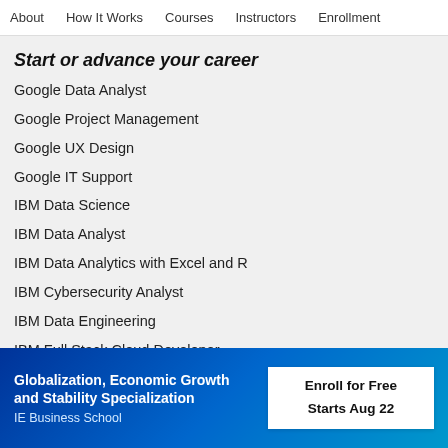About   How It Works   Courses   Instructors   Enrollment
Start or advance your career
Google Data Analyst
Google Project Management
Google UX Design
Google IT Support
IBM Data Science
IBM Data Analyst
IBM Data Analytics with Excel and R
IBM Cybersecurity Analyst
IBM Data Engineering
IBM Full Stack Cloud Developer
Globalization, Economic Growth and Stability Specialization
IE Business School
Enroll for Free
Starts Aug 22